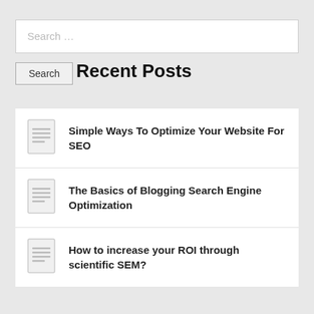Search …
Search
Recent Posts
Simple Ways To Optimize Your Website For SEO
The Basics of Blogging Search Engine Optimization
How to increase your ROI through scientific SEM?